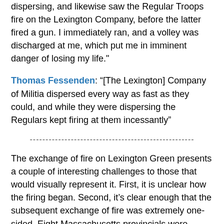dispersing, and likewise saw the Regular Troops fire on the Lexington Company, before the latter fired a gun. I immediately ran, and a volley was discharged at me, which put me in imminent danger of losing my life."
Thomas Fessenden: “[The Lexington] Company of Militia dispersed every way as fast as they could, and while they were dispersing the Regulars kept firing at them incessantly”
----------------------------------------------------
The exchange of fire on Lexington Green presents a couple of interesting challenges to those that would visually represent it. First, it is unclear how the firing began. Second, it’s clear enough that the subsequent exchange of fire was extremely one-sided. Eight Massachusetts provincials were killed, another 9 were wounded, and others were spared only by the inaccuracy of British musketry [1] and the rapidity of their flight. Few of the Lexington militia got off a shot.
Doolittle’s depiction was made early in the Revolutionary War and its purpose seems to have been not only to document events, but also to editorialize. He makes it clear